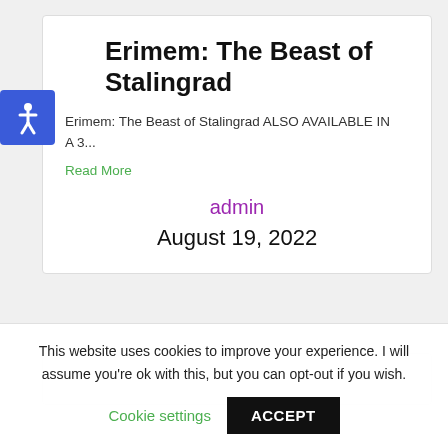Erimem: The Beast of Stalingrad
Erimem: The Beast of Stalingrad ALSO AVAILABLE IN A 3...
Read More
admin
August 19, 2022
This website uses cookies to improve your experience. I will assume you're ok with this, but you can opt-out if you wish.
Cookie settings
ACCEPT